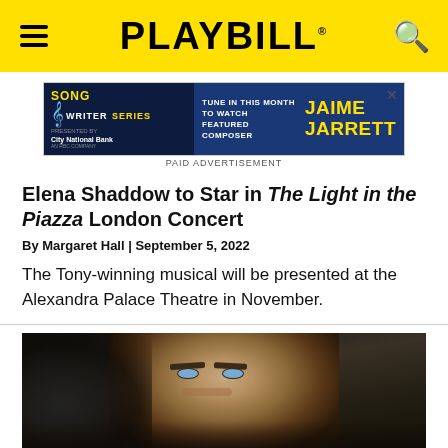PLAYBILL
[Figure (other): Playbill Song Writer Series advertisement featuring Jaime Jarrett as featured composer, presented by City National Bank, with text 'Tune in this month to watch featured composer Jaime Jarrett']
PAID ADVERTISEMENT
Elena Shaddow to Star in The Light in the Piazza London Concert
By Margaret Hall | September 5, 2022
The Tony-winning musical will be presented at the Alexandra Palace Theatre in November.
[Figure (photo): Close-up photo of a man with blue-gray eyes looking directly at camera, in a dark scene]